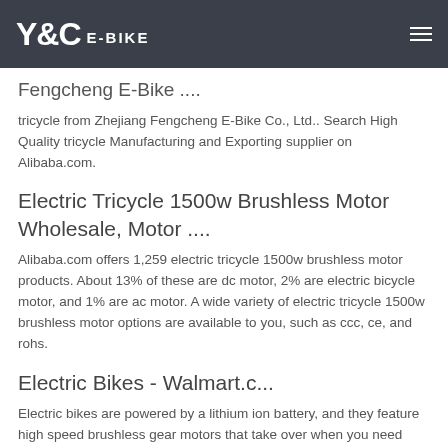Y&C E-BIKE
Fengcheng E-Bike ....
tricycle from Zhejiang Fengcheng E-Bike Co., Ltd.. Search High Quality tricycle Manufacturing and Exporting supplier on Alibaba.com.
Electric Tricycle 1500w Brushless Motor Wholesale, Motor ....
Alibaba.com offers 1,259 electric tricycle 1500w brushless motor products. About 13% of these are dc motor, 2% are electric bicycle motor, and 1% are ac motor. A wide variety of electric tricycle 1500w brushless motor options are available to you, such as ccc, ce, and rohs.
Electric Bikes - Walmart.c...
Electric bikes are powered by a lithium ion battery, and they feature high speed brushless gear motors that take over when you need extra help. With 21 speeds,